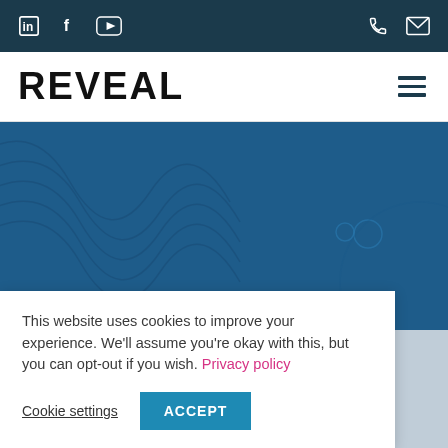Top navigation bar with social icons (LinkedIn, Facebook, YouTube) and contact icons (phone, email)
[Figure (logo): REVEAL company logo in bold black uppercase text on white background]
[Figure (illustration): Blue hero banner with abstract geometric wave and circle design in dark blue tones]
This website uses cookies to improve your experience. We'll assume you're okay with this, but you can opt-out if you wish. Privacy policy
Cookie settings   ACCEPT